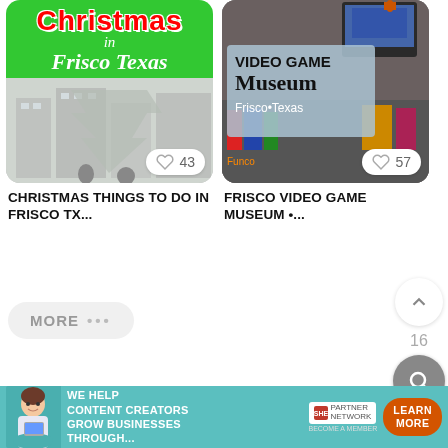[Figure (screenshot): Pinterest-style card showing 'Christmas in Frisco Texas' with green background and snowy Christmas tree image, heart icon with count 43]
[Figure (screenshot): Pinterest-style card showing 'Video Game Museum Frisco Texas' sign over museum photo, heart icon with count 57]
CHRISTMAS THINGS TO DO IN FRISCO TX...
FRISCO VIDEO GAME MUSEUM •...
MORE ...
16
[Figure (logo): Medium logo with three circles and 'Medium' text]
As Seen In
[Figure (logo): allrecipes logo in orange italic text with decorative spoon icon]
[Figure (screenshot): SHE Media Partner Network advertisement banner: 'We help content creators grow businesses through...' with Learn More button]